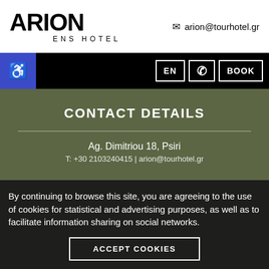[Figure (logo): ARION ATHENS HOTEL logo in bold black text]
arion@tourhotel.gr
[Figure (screenshot): Navigation bar with hamburger menu, EN language selector, phone button, and BOOK button]
CONTACT DETAILS
Ag. Dimitriou 18, Psiri
T: +30 2103240415 | arion@tourhotel.gr
By continuing to browse this site, you are agreeing to the use of cookies for statistical and advertising purposes, as well as to facilitate information sharing on social networks.
ACCEPT COOKIES